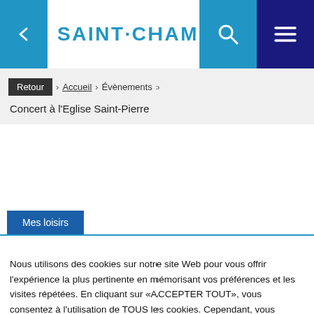SAINT·CHAMOND
Retour > Accueil > Évènements > Concert à l'Eglise Saint-Pierre
Mes loisirs
Nous utilisons des cookies sur notre site Web pour vous offrir l'expérience la plus pertinente en mémorisant vos préférences et les visites répétées. En cliquant sur «ACCEPTER TOUT», vous consentez à l'utilisation de TOUS les cookies. Cependant, vous pouvez visiter "Paramètres des cookies" pour fournir un consentement contrôlé.
Paramètres des cookies | ACCEPTER TOUT